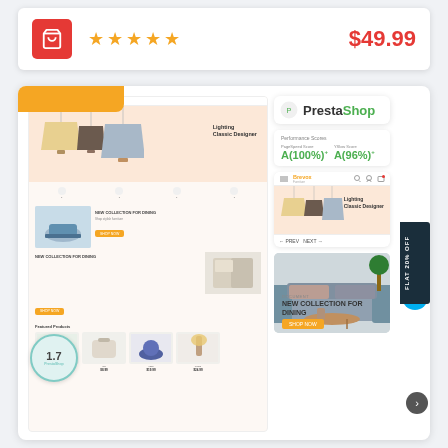[Figure (screenshot): E-commerce product listing card with red cart button, 5 star rating, and $49.99 price]
[Figure (screenshot): PrestaShop furniture theme (Brevox) screenshot showing desktop and mobile previews, performance scores A(100%) and A(96%), and PrestaShop 1.7 badge, with FLAT 20% OFF sidebar]